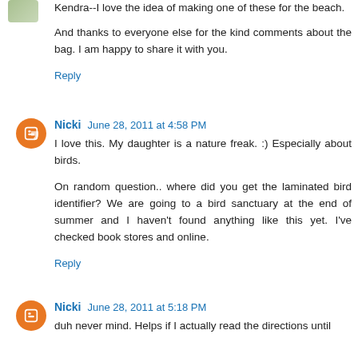Kendra--I love the idea of making one of these for the beach.
And thanks to everyone else for the kind comments about the bag. I am happy to share it with you.
Reply
Nicki  June 28, 2011 at 4:58 PM
I love this. My daughter is a nature freak. :) Especially about birds.
On random question.. where did you get the laminated bird identifier? We are going to a bird sanctuary at the end of summer and I haven't found anything like this yet. I've checked book stores and online.
Reply
Nicki  June 28, 2011 at 5:18 PM
duh never mind. Helps if I actually read the directions until